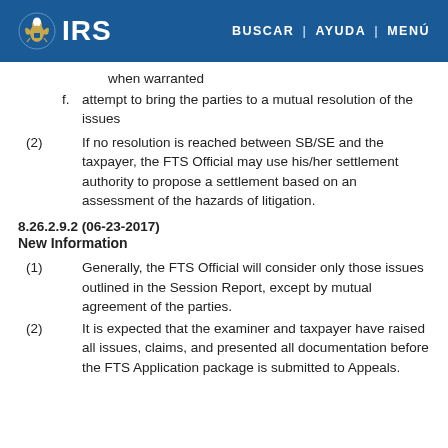IRS | BUSCAR | AYUDA | MENÚ
when warranted
f. attempt to bring the parties to a mutual resolution of the issues
(2) If no resolution is reached between SB/SE and the taxpayer, the FTS Official may use his/her settlement authority to propose a settlement based on an assessment of the hazards of litigation.
8.26.2.9.2 (06-23-2017)
New Information
(1) Generally, the FTS Official will consider only those issues outlined in the Session Report, except by mutual agreement of the parties.
(2) It is expected that the examiner and taxpayer have raised all issues, claims, and presented all documentation before the FTS Application package is submitted to Appeals.